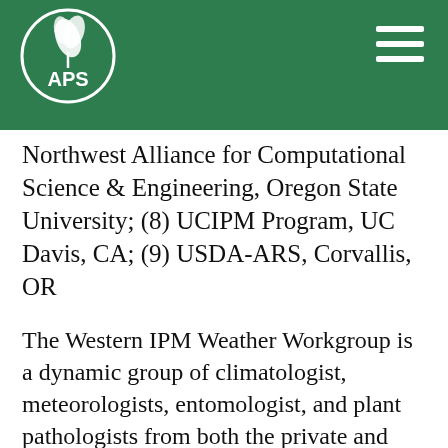APS logo header with hamburger menu
Northwest Alliance for Computational Science & Engineering, Oregon State University; (8) UCIPM Program, UC Davis, CA; (9) USDA-ARS, Corvallis, OR
The Western IPM Weather Workgroup is a dynamic group of climatologist, meteorologists, entomologist, and plant pathologists from both the private and public sector who are actively engaged in the development and delivery of management tools that utilize weather and forecast data. The group grew from numerous individual efforts into a collaborative team due in part to funding from the CSREES Western IPM Program on workgroups. The group's mission is to improve crop management decision-making abilities by developing new approaches to access.